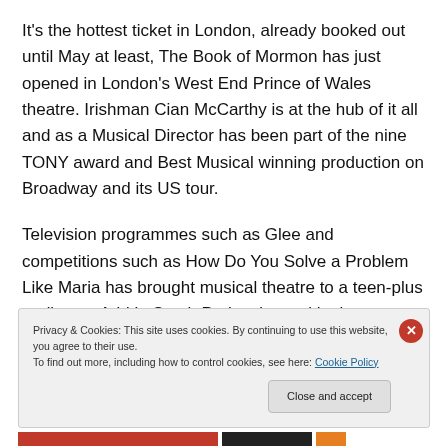It's the hottest ticket in London, already booked out until May at least, The Book of Mormon has just opened in London's West End Prince of Wales theatre. Irishman Cian McCarthy is at the hub of it all and as a Musical Director has been part of the nine TONY award and Best Musical winning production on Broadway and its US tour.
Television programmes such as Glee and competitions such as How Do You Solve a Problem Like Maria has brought musical theatre to a teen-plus audience. Add in South Park writers with clever musical innuendo and good,
Privacy & Cookies: This site uses cookies. By continuing to use this website, you agree to their use.
To find out more, including how to control cookies, see here: Cookie Policy
Close and accept